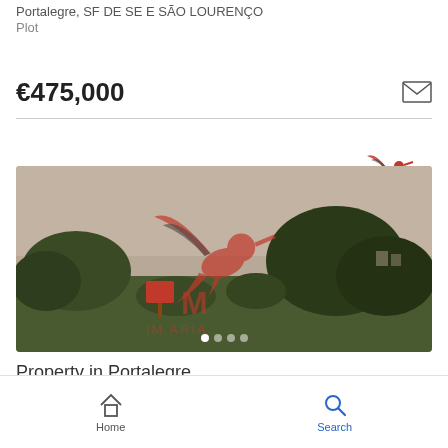Portalegre, SF DE SE E SAO LOURENCO
Plot
€475,000
[Figure (photo): Foggy landscape photo of an open plot of land with bushes and trees, a red signboard visible, Predimed logo watermarked on top, M Imobiliaria branding watermark]
Property in Portalegre
Home   Search